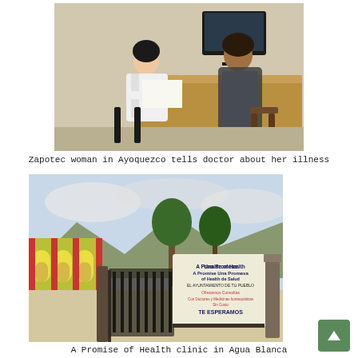[Figure (photo): A Zapotec woman sitting across a desk from a doctor in a white coat, with a computer monitor in the background, in a clinic setting in Ayoquezco.]
Zapotec woman in Ayoquezco tells doctor about her illness
[Figure (photo): Entrance gates to a Promise of Health clinic in Agua Blanca, with a banner reading 'A Promise of Health / Una Promesa de Salud / EL AYUNTAMIENTO DE TU PUEBLO / Ofrecemos Consultas / Con Doctores y Medicinas homeopáticas / Sin Costo / TE ESPERAMOS' and arched buildings visible in the background.]
A Promise of Health clinic in Agua Blanca